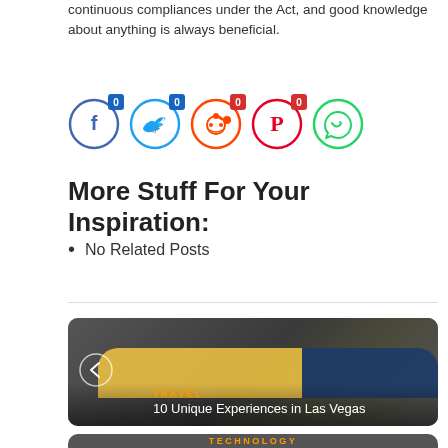continuous compliances under the Act, and good knowledge about anything is always beneficial.
[Figure (infographic): Social sharing icons: Facebook (blue circle, count 0), Twitter (blue circle, count 0), Reddit (orange circle, count 0), Pinterest (red circle, count 0), WhatsApp (green circle, no count badge)]
More Stuff For Your Inspiration:
No Related Posts
[Figure (photo): NASCAR race car photo card with TRAVEL tag and title '10 Unique Experiences in Las Vegas', back arrow button on left]
[Figure (screenshot): Technology card partially visible at bottom with TECHNOLOGY tag]